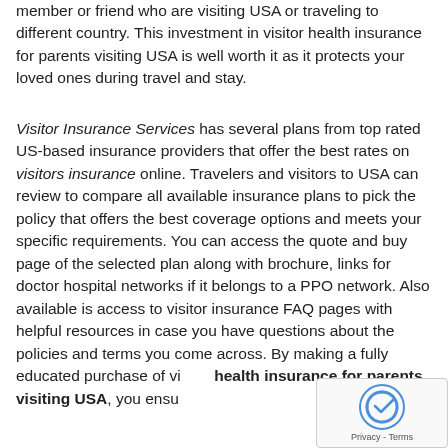member or friend who are visiting USA or traveling to different country. This investment in visitor health insurance for parents visiting USA is well worth it as it protects your loved ones during travel and stay.
Visitor Insurance Services has several plans from top rated US-based insurance providers that offer the best rates on visitors insurance online. Travelers and visitors to USA can review to compare all available insurance plans to pick the policy that offers the best coverage options and meets your specific requirements. You can access the quote and buy page of the selected plan along with brochure, links for doctor hospital networks if it belongs to a PPO network. Also available is access to visitor insurance FAQ pages with helpful resources in case you have questions about the policies and terms you come across. By making a fully educated purchase of visitor health insurance for parents visiting USA, you ensure...